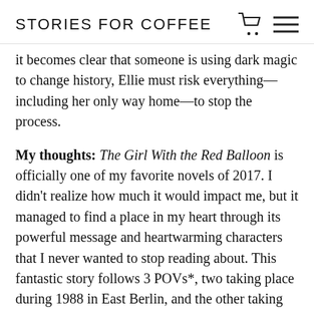STORIES FOR COFFEE
it becomes clear that someone is using dark magic to change history, Ellie must risk everything—including her only way home—to stop the process.
My thoughts: The Girl With the Red Balloon is officially one of my favorite novels of 2017. I didn't realize how much it would impact me, but it managed to find a place in my heart through its powerful message and heartwarming characters that I never wanted to stop reading about. This fantastic story follows 3 POVs*, two taking place during 1988 in East Berlin, and the other taking place during 1942 in a ghetto in Poland. Majority of this novel focuses around Ellie, who accidentally time travels back to East Berlin with the help of a magical red balloon, but